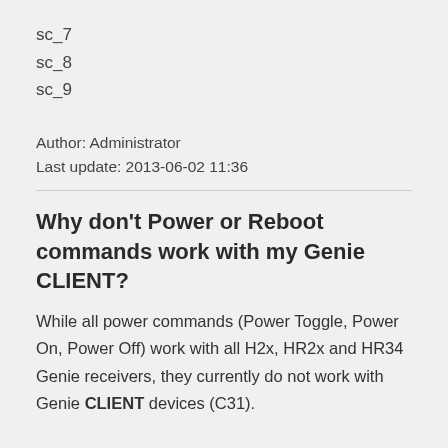sc_7
sc_8
sc_9
Author: Administrator
Last update: 2013-06-02 11:36
Why don't Power or Reboot commands work with my Genie CLIENT?
While all power commands (Power Toggle, Power On, Power Off) work with all H2x, HR2x and HR34 Genie receivers, they currently do not work with Genie CLIENT devices (C31).
This is not a problem with my apps, but rather the commands simply do not work on the client devices.  Power Toggle